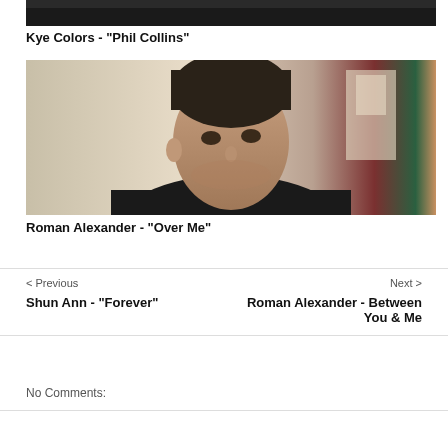[Figure (photo): Top portion of a previously shown image (dark/black at top)]
Kye Colors - "Phil Collins"
[Figure (photo): Portrait photo of a young man with dark hair wearing a dark jacket, looking at the camera, indoor background with blurred decor]
Roman Alexander - "Over Me"
< Previous
Next >
Shun Ann - "Forever"
Roman Alexander - Between You & Me
No Comments: